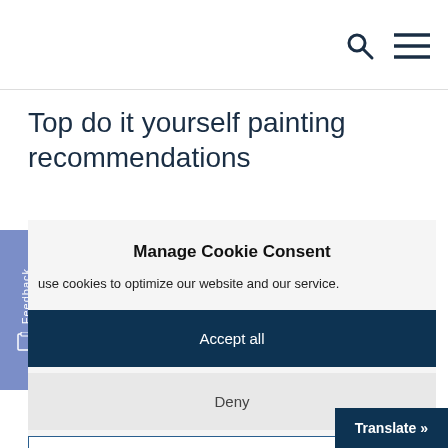Top do it yourself painting recommendations
Manage Cookie Consent
use cookies to optimize our website and our service.
Accept all
Deny
Settings
Feedback
Translate »